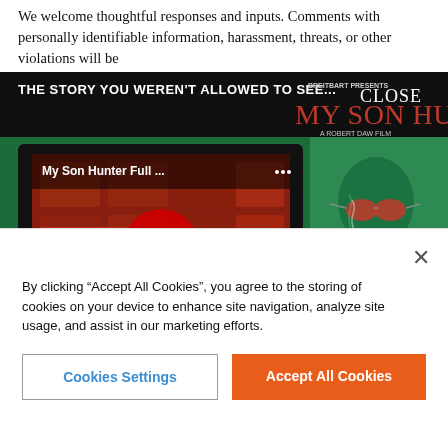We welcome thoughtful responses and inputs. Comments with personally identifiable information, harassment, threats, or other violations will be
[Figure (screenshot): Advertisement for 'My Son Hunter' film by Breitbart. Shows a YouTube video thumbnail embedded in a laptop, with 'THE STORY YOU WEREN'T ALLOWED TO SEE...' headline, YouTube play button overlay, text 'WATCH THE TRAILER', 'My Son Hunter Full ...' title on video. Right side shows poster with man in green tint wearing red aviator sunglasses and smoking. Logo: 'BREITBART PRESENTS CLOSE MY SON HUNTER A ROBERT DAW FILM'. Bottom: 'MYSONHUNTER.COM' and red button 'PRE-ORDER NOW', 'COMING SEPT 7'.]
By clicking “Accept All Cookies”, you agree to the storing of cookies on your device to enhance site navigation, analyze site usage, and assist in our marketing efforts.
Cookies Settings
Accept All Cookies